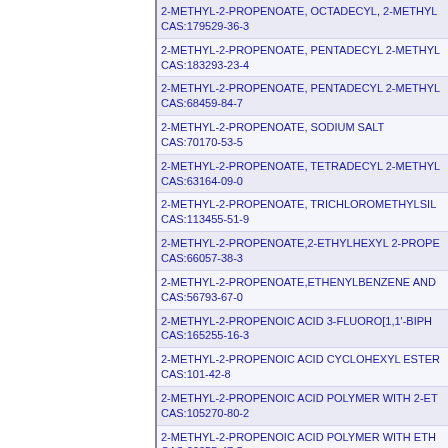2-METHYL-2-PROPENOATE, OCTADECYL, 2-METHYL... CAS:179529-36-3
2-METHYL-2-PROPENOATE, PENTADECYL 2-METHYL... CAS:183293-23-4
2-METHYL-2-PROPENOATE, PENTADECYL 2-METHYL... CAS:68459-84-7
2-METHYL-2-PROPENOATE, SODIUM SALT CAS:70170-53-5
2-METHYL-2-PROPENOATE, TETRADECYL 2-METHYL... CAS:63164-09-0
2-METHYL-2-PROPENOATE, TRICHLOROMETHYLSIL... CAS:113455-51-9
2-METHYL-2-PROPENOATE,2-ETHYLHEXYL 2-PROPE... CAS:66057-38-3
2-METHYL-2-PROPENOATE,ETHENYLBENZENE AND... CAS:56793-67-0
2-METHYL-2-PROPENOIC ACID 3-FLUORO[1,1'-BIPH... CAS:165255-16-3
2-METHYL-2-PROPENOIC ACID CYCLOHEXYL ESTER CAS:101-42-8
2-METHYL-2-PROPENOIC ACID POLYMER WITH 2-ET... CAS:105270-80-2
2-METHYL-2-PROPENOIC ACID POLYMER WITH ETH... CAS:26355-47-5
2-METHYL-2-PROPENOIC ACID,POLYMER WITH 1,3-B... CAS:25053-29-6
2-METHYL-2-THIAZOLINE